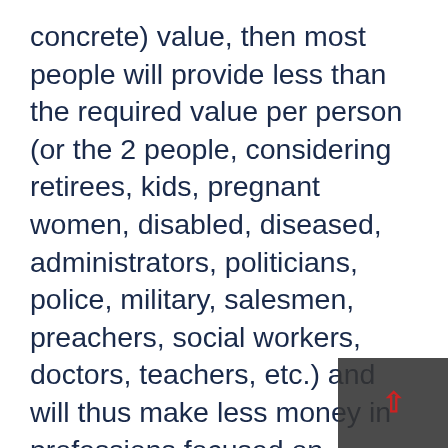concrete) value, then most people will provide less than the required value per person (or the 2 people, considering retirees, kids, pregnant women, disabled, diseased, administrators, politicians, police, military, salesmen, preachers, social workers, doctors, teachers, etc.) and will thus make less money in professions focused on providing this kind of value.
Illustration: If you decided to grow tomatoes in your yard, could you live off of that? Could you compete with the big tomato plantations? You couldn't even